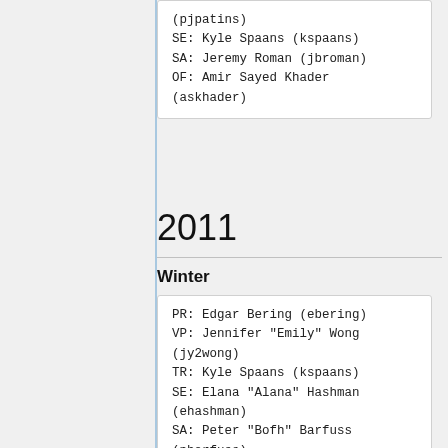(pjpatins)
SE: Kyle Spaans (kspaans)
SA: Jeremy Roman (jbroman)
OF: Amir Sayed Khader (askhader)
2011
Winter
PR: Edgar Bering (ebering)
VP: Jennifer "Emily" Wong (jy2wong)
TR: Kyle Spaans (kspaans)
SE: Elana "Alana" Hashman (ehashman)
SA: Peter "Bofh" Barfuss (pbarfuss)
OF: Marc Burns (Marc Burns)